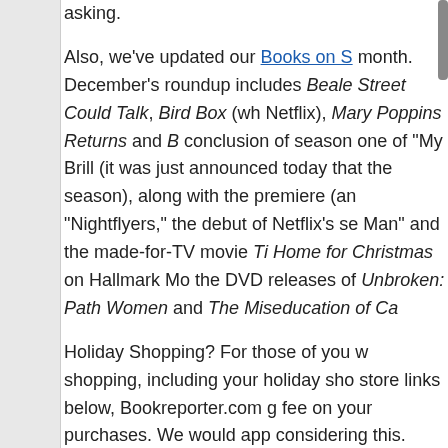asking. Also, we've updated our Books on S... month. December's roundup includes Beale Street Could Talk, Bird Box (wh... Netflix), Mary Poppins Returns and B... conclusion of season one of "My Brill... (it was just announced today that the... season), along with the premiere (an... "Nightflyers," the debut of Netflix's se... Man" and the made-for-TV movie Ti... Home for Christmas on Hallmark Mo... the DVD releases of Unbroken: Path... Women and The Miseducation of Ca...
Holiday Shopping? For those of you w... shopping, including your holiday shop... store links below, Bookreporter.com g... fee on your purchases. We would app... considering this.